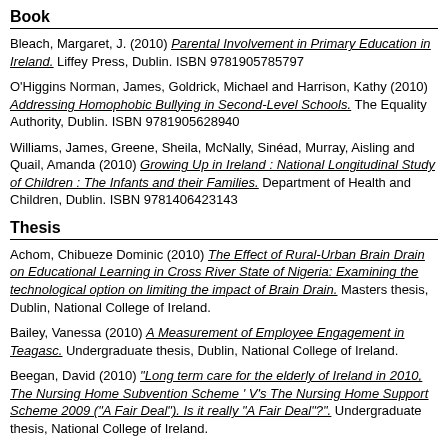Book
Bleach, Margaret, J. (2010) Parental Involvement in Primary Education in Ireland. Liffey Press, Dublin. ISBN 9781905785797
O'Higgins Norman, James, Goldrick, Michael and Harrison, Kathy (2010) Addressing Homophobic Bullying in Second-Level Schools. The Equality Authority, Dublin. ISBN 9781905628940
Williams, James, Greene, Sheila, McNally, Sinéad, Murray, Aisling and Quail, Amanda (2010) Growing Up in Ireland : National Longitudinal Study of Children : The Infants and their Families. Department of Health and Children, Dublin. ISBN 9781406423143
Thesis
Achom, Chibueze Dominic (2010) The Effect of Rural-Urban Brain Drain on Educational Learning in Cross River State of Nigeria: Examining the technological option on limiting the impact of Brain Drain. Masters thesis, Dublin, National College of Ireland.
Bailey, Vanessa (2010) A Measurement of Employee Engagement in Teagasc. Undergraduate thesis, Dublin, National College of Ireland.
Beegan, David (2010) "Long term care for the elderly of Ireland in 2010, The Nursing Home Subvention Scheme ' V's The Nursing Home Support Scheme 2009 ("A Fair Deal"). Is it really "A Fair Deal"?". Undergraduate thesis, National College of Ireland.
Byrne, Dermot (2010) An Exploration of the Relationship Between Induction